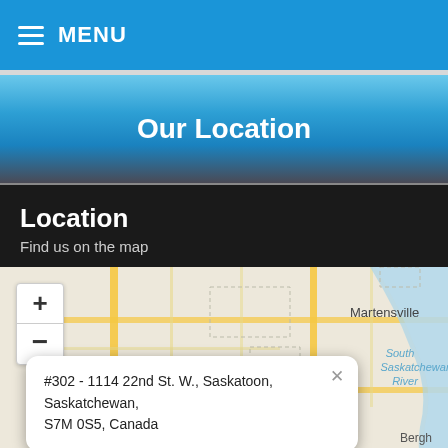MENU
Our Location
Location
Find us on the map
[Figure (map): Google map showing area around Saskatoon, Saskatchewan with Martensville labeled, South Saskatchewan River labeled in blue italic text, zoom controls with + and - buttons, and a popup showing the address #302 - 1114 22nd St. W., Saskatoon, Saskatchewan, S7M 0S5, Canada. An Accessibility View bar appears at the bottom.]
#302 - 1114 22nd St. W., Saskatoon, Saskatchewan, S7M 0S5, Canada